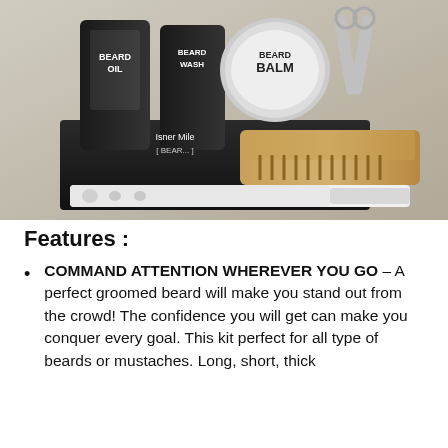[Figure (photo): A beard grooming kit showing products including Beard Oil, Beard Wash, Beard Balm tin, scissors, a straight razor, and a wooden beard comb, arranged on a dark box. Brand name partially visible: Isner Mile Beard.]
Features :
COMMAND ATTENTION WHEREVER YOU GO – A perfect groomed beard will make you stand out from the crowd! The confidence you will get can make you conquer every goal. This kit perfect for all type of beards or mustaches. Long, short, thick